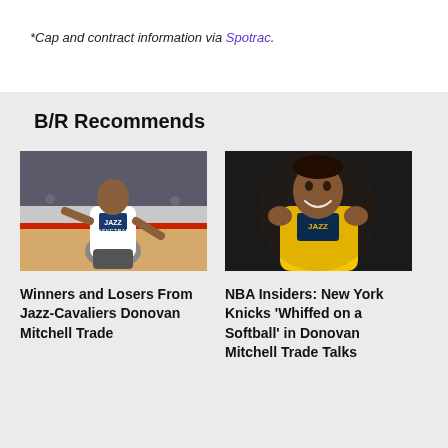*Cap and contract information via Spotrac.
B/R Recommends
[Figure (photo): Basketball player in white Jazz practice jersey on court with empty seats]
Winners and Losers From Jazz-Cavaliers Donovan Mitchell Trade
[Figure (photo): Donovan Mitchell smiling in yellow Utah Jazz jersey]
NBA Insiders: New York Knicks 'Whiffed on a Softball' in Donovan Mitchell Trade Talks
[Figure (photo): Partial view of third article photo (cropped)]